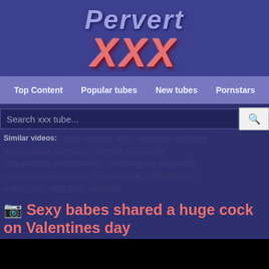[Figure (logo): Pervert XXX website logo with stylized text]
Top Content   Popular tubes   New tubes   Pornstars
Search xxx tube...
Similar videos:  sexy valentine outfit  valentines outfit sexy  sexy outfits for valentines  valentine sexy outfits  sexy outfits for valentines day  valentines day sexy outfits  sexy valentine day outfits  sexy valentine  valentine sexy  a sexy outfit  outfit sexy  valentine
Sexy babes shared a huge cock on Valentines day